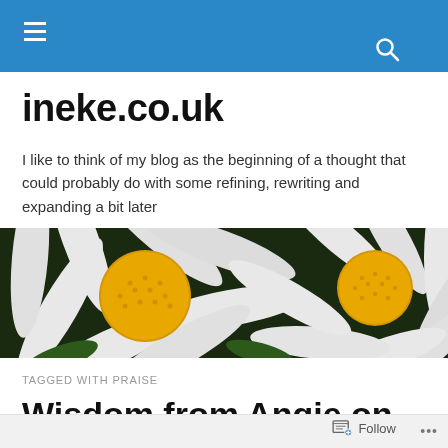ineke.co.uk navigation bar
ineke.co.uk
I like to think of my blog as the beginning of a thought that could probably do with some refining, rewriting and expanding a bit later
[Figure (photo): Close-up photo of white daisy flowers with yellow centres against a dark background]
TAGGED WITH PRAISE
Wisdom from Angie on Worship
Follow  •••